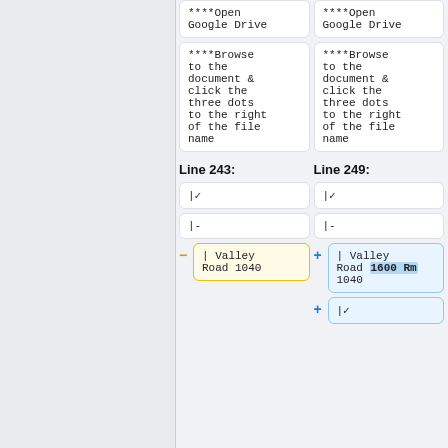| Line 243: | Line 249: |
| --- | --- |
| ****Open Google Drive | ****Open Google Drive |
| ****Browse to the document & click the three dots to the right of the file name | ****Browse to the document & click the three dots to the right of the file name |
| - | Valley Road 1040 | + | Valley Road 1600 Rm 1040 |
| |&#x02713; | |&#x02713; |
| |- | |- |
|  | + |&#x02713; |